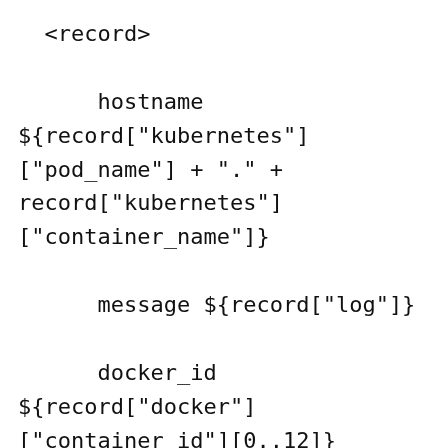<record>

      hostname ${record["kubernetes"]["pod_name"] + "." + record["kubernetes"]["container_name"]}

      message ${record["log"]}

      docker_id ${record["docker"]["container_id"][0..12]}

    </record>

</filter>